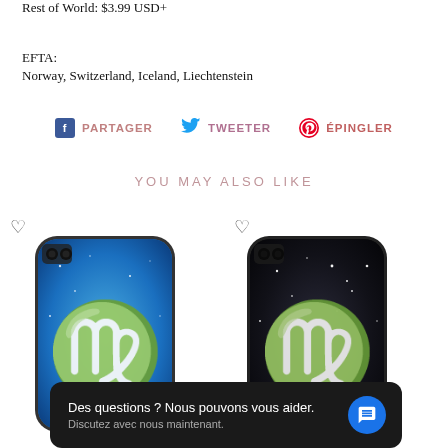Rest of World: $3.99 USD+
EFTA:
Norway, Switzerland, Iceland, Liechtenstein
PARTAGER   TWEETER   ÉPINGLER
YOU MAY ALSO LIKE
[Figure (photo): Blue galaxy Virgo zodiac iPhone case with white Virgo symbol]
[Figure (photo): Black galaxy Virgo zodiac iPhone case with white Virgo symbol]
Des questions ? Nous pouvons vous aider. Discutez avec nous maintenant.